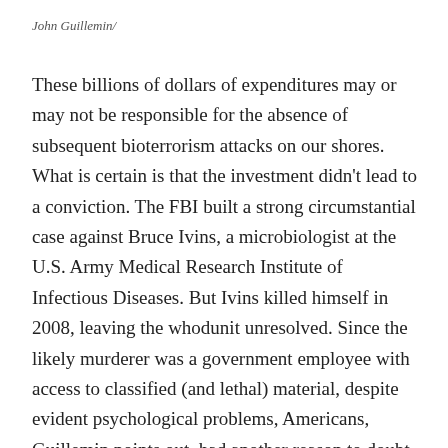John Guillemin/
These billions of dollars of expenditures may or may not be responsible for the absence of subsequent bioterrorism attacks on our shores. What is certain is that the investment didn't lead to a conviction. The FBI built a strong circumstantial case against Bruce Ivins, a microbiologist at the U.S. Army Medical Research Institute of Infectious Diseases. But Ivins killed himself in 2008, leaving the whodunit unresolved. Since the likely murderer was a government employee with access to classified (and lethal) material, despite evident psychological problems, Americans, Guillemin points out, had another reason to doubt that their government could protect them.
Guillemin understands that the United States had to prepare